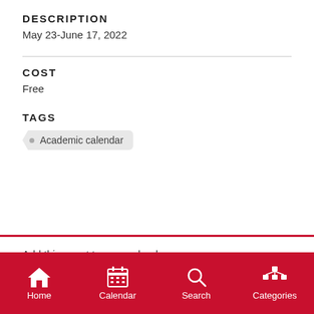DESCRIPTION
May 23-June 17, 2022
COST
Free
TAGS
Academic calendar
Add this event to your calendar:
iCalendar
Home  Calendar  Search  Categories